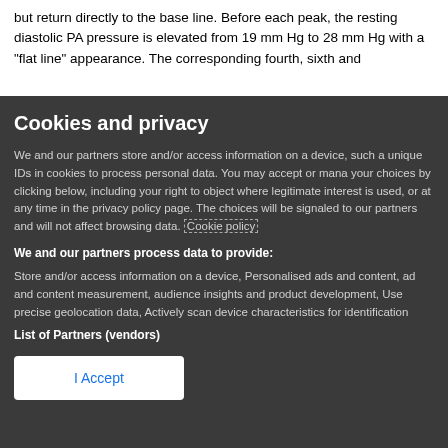but return directly to the base line. Before each peak, the resting diastolic PA pressure is elevated from 19 mm Hg to 28 mm Hg with a "flat line" appearance. The corresponding fourth, sixth and
Cookies and privacy
We and our partners store and/or access information on a device, such a unique IDs in cookies to process personal data. You may accept or manage your choices by clicking below, including your right to object where legitimate interest is used, or at any time in the privacy policy page. These choices will be signaled to our partners and will not affect browsing data. Cookie policy
We and our partners process data to provide:
Store and/or access information on a device, Personalised ads and content, ad and content measurement, audience insights and product development, Use precise geolocation data, Actively scan device characteristics for identification
List of Partners (vendors)